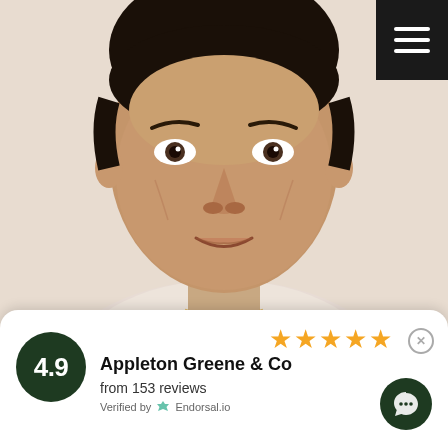[Figure (photo): Headshot portrait of a middle-aged man with dark hair, wearing a light-colored shirt and a thin gold necklace, against a light beige background.]
4.9
Appleton Greene & Co
from 153 reviews
Verified by Endorsal.io